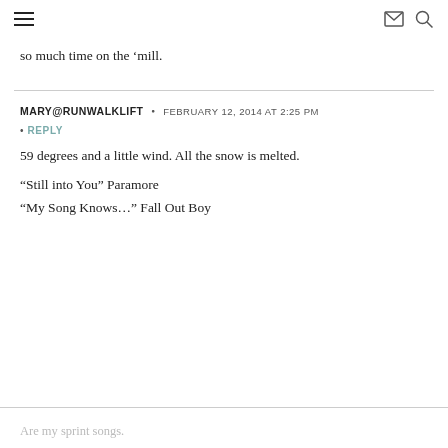≡  ✉  🔍
so much time on the ‘mill.
MARY@RUNWALKLIFT • FEBRUARY 12, 2014 AT 2:25 PM
• REPLY
59 degrees and a little wind. All the snow is melted.
“Still into You” Paramore
“My Song Knows…” Fall Out Boy
Are my sprint songs.